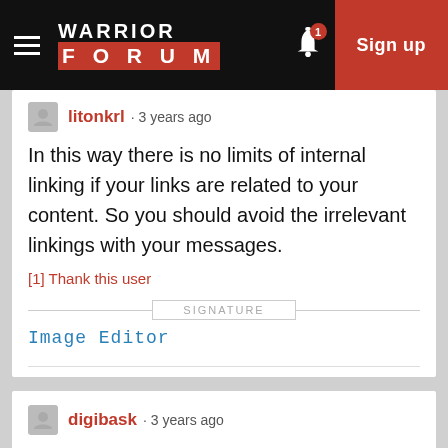[Figure (screenshot): Warrior Forum navigation bar with hamburger menu, logo, bell notification icon with badge '1', and red Sign up button]
litonkrl · 3 years ago
In this way there is no limits of internal linking if your links are related to your content. So you should avoid the irrelevant linkings with your messages.
[1] Thank this user
SIGNATURE
Image Editor
digibask · 3 years ago
No,there no limit to link building